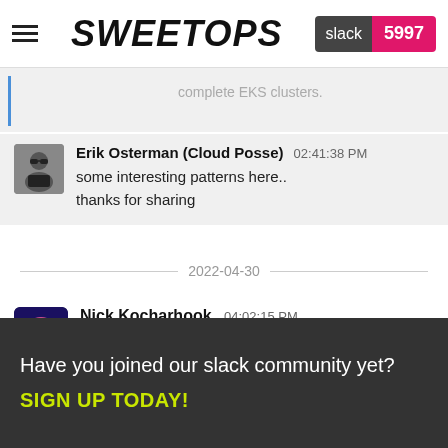SweetOps | slack 5997
complete EKS clusters.
Erik Osterman (Cloud Posse) 02:41:38 PM
some interesting patterns here..
thanks for sharing
2022-04-30
Nick Kocharhook 04:02:15 PM
I'm trying to add multiple rules to a cloudposse security group with a rules block that looks like this:
Have you joined our slack community yet?
SIGN UP TODAY!